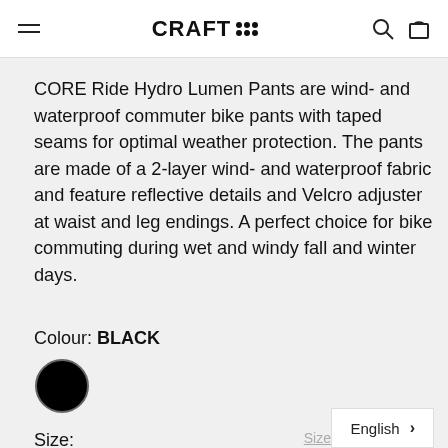CRAFT (logo with dot grid)
CORE Ride Hydro Lumen Pants are wind- and waterproof commuter bike pants with taped seams for optimal weather protection. The pants are made of a 2-layer wind- and waterproof fabric and feature reflective details and Velcro adjuster at waist and leg endings. A perfect choice for bike commuting during wet and windy fall and winter days.
Colour: BLACK
[Figure (illustration): Black circular colour swatch for BLACK colour option]
Size:
Size chart
XS (selected, highlighted in yellow-green)
S
M
L
XL
English >